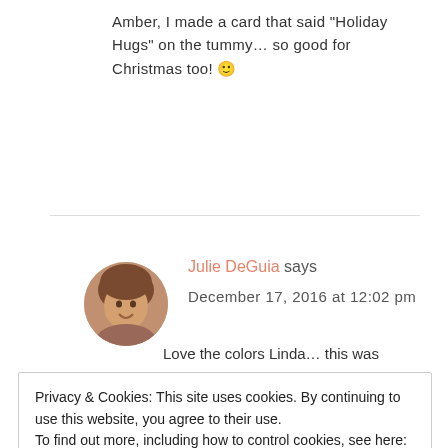Amber, I made a card that said “Holiday Hugs” on the tummy… so good for Christmas too! 🙂
[Figure (photo): Small circular avatar photo of Julie DeGuia, a woman with brown hair, smiling.]
Julie DeGuia says
December 17, 2016 at 12:02 pm
Love the colors Linda… this was
Privacy & Cookies: This site uses cookies. By continuing to use this website, you agree to their use.
To find out more, including how to control cookies, see here: Cookie Policy
Close and accept
Barb Boounclail says